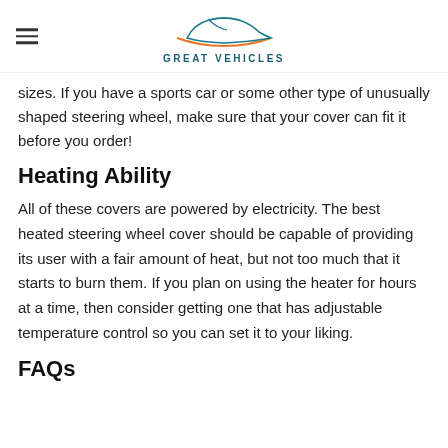GREAT VEHICLES
sizes. If you have a sports car or some other type of unusually shaped steering wheel, make sure that your cover can fit it before you order!
Heating Ability
All of these covers are powered by electricity. The best heated steering wheel cover should be capable of providing its user with a fair amount of heat, but not too much that it starts to burn them. If you plan on using the heater for hours at a time, then consider getting one that has adjustable temperature control so you can set it to your liking.
FAQs